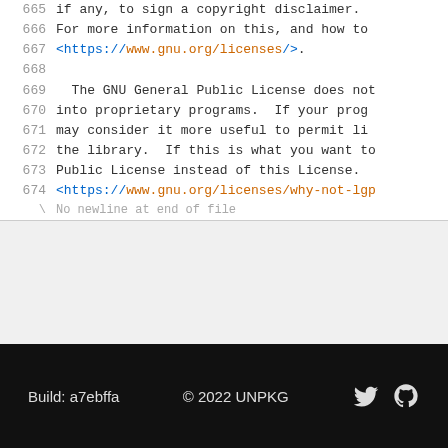665  if any, to sign a copyright disclaimer.
666  For more information on this, and how to
667  <https://www.gnu.org/licenses/>.
668
669    The GNU General Public License does not
670  into proprietary programs.  If your prog
671  may consider it more useful to permit li
672  the library.  If this is what you want to
673  Public License instead of this License.
674  <https://www.gnu.org/licenses/why-not-lgp
\ No newline at end of file
Build: a7ebffa   © 2022 UNPKG